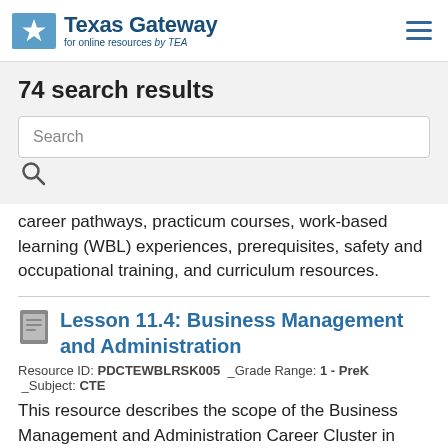Texas Gateway for online resources by TEA
74 search results
Search
career pathways, practicum courses, work-based learning (WBL) experiences, prerequisites, safety and occupational training, and curriculum resources.
Lesson 11.4: Business Management and Administration
Resource ID: PDCTEWBLRSK005  _Grade Range: 1 - PreK  _Subject: CTE
This resource describes the scope of the Business Management and Administration Career Cluster in terms of